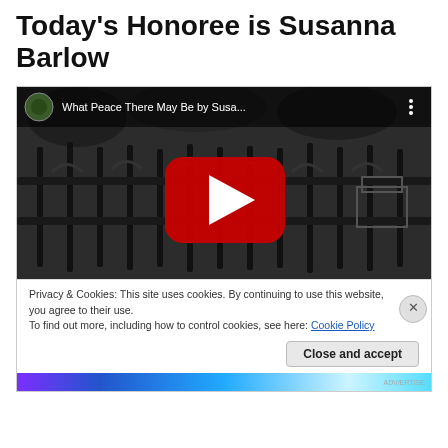Today's Honoree is Susanna Barlow
[Figure (screenshot): YouTube video thumbnail showing 'What Peace There May Be by Susa...' with a black and white iron fence background and a red YouTube play button in the center]
Privacy & Cookies: This site uses cookies. By continuing to use this website, you agree to their use.
To find out more, including how to control cookies, see here: Cookie Policy
Close and accept